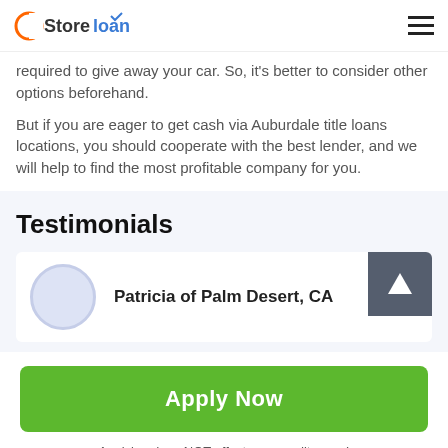Store loan
required to give away your car. So, it's better to consider other options beforehand.
But if you are eager to get cash via Auburdale title loans locations, you should cooperate with the best lender, and we will help to find the most profitable company for you.
Testimonials
Patricia of Palm Desert, CA
[Figure (other): Scroll to top button with upward arrow icon]
Apply Now
Applying does NOT affect your credit score! No credit check to apply.